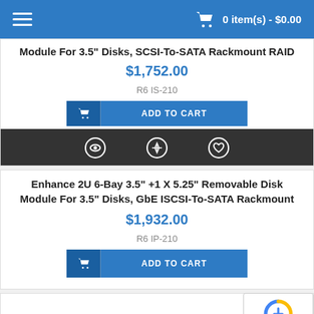0 item(s) - $0.00
Module For 3.5" Disks, SCSI-To-SATA Rackmount RAID
$1,752.00
R6 IS-210
ADD TO CART
Enhance 2U 6-Bay 3.5" +1 X 5.25" Removable Disk Module For 3.5" Disks, GbE ISCSI-To-SATA Rackmount
$1,932.00
R6 IP-210
ADD TO CART